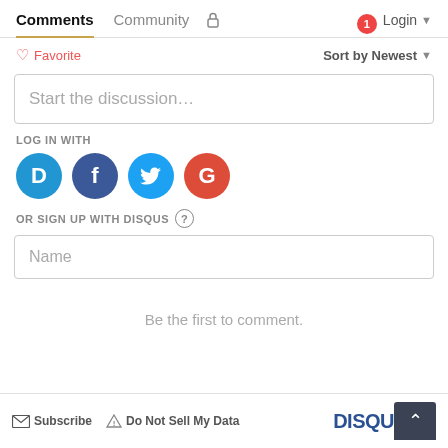Comments  Community  [lock]  [1] Login
♡ Favorite  Sort by Newest
Start the discussion…
LOG IN WITH
[Figure (logo): Social login icons: Disqus (blue D), Facebook (dark blue F), Twitter (blue bird), Google (red G)]
OR SIGN UP WITH DISQUS ?
Name
Be the first to comment.
Subscribe  Do Not Sell My Data  DISQU[S]